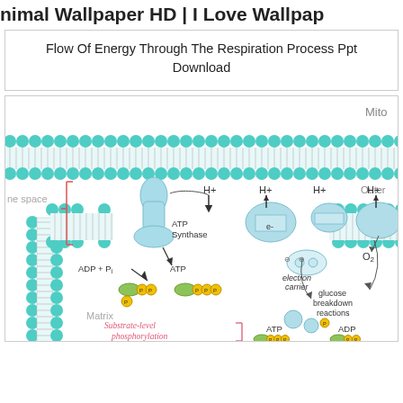nimal Wallpaper HD | I Love Wallpap
Flow Of Energy Through The Respiration Process Ppt Download
[Figure (illustration): Scientific diagram showing the electron transport chain and ATP synthesis in a mitochondrial inner membrane. Shows ATP Synthase with ADP + Pi input and ATP output, H+ ions flowing across the membrane, electron carriers, protein complexes embedded in the membrane (teal/cyan bilayer with circular phospholipid heads), O2, glucose breakdown reactions, Substrate-level phosphorylation labeled in red/pink cursive, ADP and ATP molecules shown as green ovals with phosphate groups, electron carrier molecules shown as oval shapes with minus signs, and labels for Matrix, Outer membrane space, Inner membrane (truncated as 'Mito', 'Outer', 'Inner'). Red bracket on left side indicating intermembrane space.]